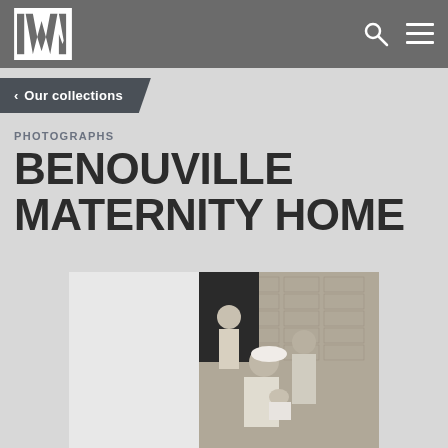IWM
Our collections
PHOTOGRAPHS
BENOUVILLE MATERNITY HOME
[Figure (photo): Black and white photograph showing women and children at a brick building, likely the Benouville Maternity Home. A nurse in white clothing is holding a baby while another woman and child stand nearby against a stone wall.]